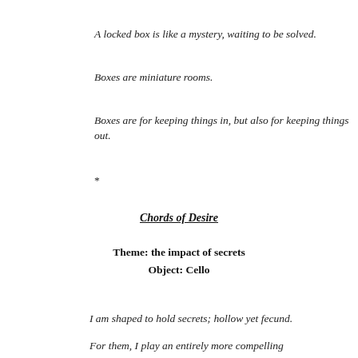A locked box is like a mystery, waiting to be solved.
Boxes are miniature rooms.
Boxes are for keeping things in, but also for keeping things out.
*
Chords of Desire
Theme: the impact of secrets
Object: Cello
I am shaped to hold secrets; hollow yet fecund.
For them, I play an entirely more compelling